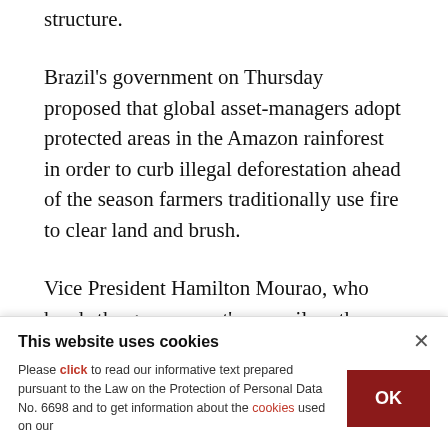structure.
Brazil's government on Thursday proposed that global asset-managers adopt protected areas in the Amazon rainforest in order to curb illegal deforestation ahead of the season farmers traditionally use fire to clear land and brush.
Vice President Hamilton Mourao, who heads the government's council on the Amazon region, held a video call with representatives of investment firms
This website uses cookies
Please click to read our informative text prepared pursuant to the Law on the Protection of Personal Data No. 6698 and to get information about the cookies used on our